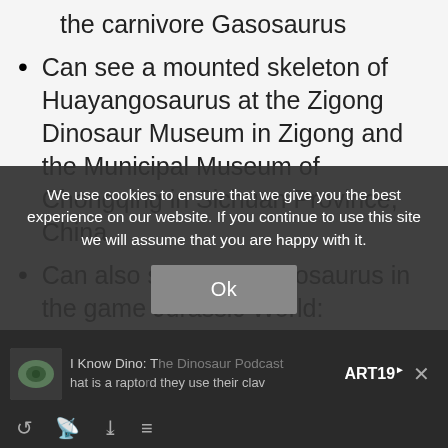the carnivore Gasosaurus
Can see a mounted skeleton of Huayangosaurus at the Zigong Dinosaur Museum in Zigong and the Municipal Museum of Chongqing in Sichuan Province, China
Can also see Huayangosaurus in the game Jurassic World: Evolution
Fun Fact: Not all raptors are “raptors”. In addition to dromaeosaurs, there are oviraptors, and other theropods that use the name.
We use cookies to ensure that we give you the best experience on our website. If you continue to use this site we will assume that you are happy with it.
Ok
I Know Dino: The Dinosaur Podcast   ART19
hat is a raptor d they use their clav